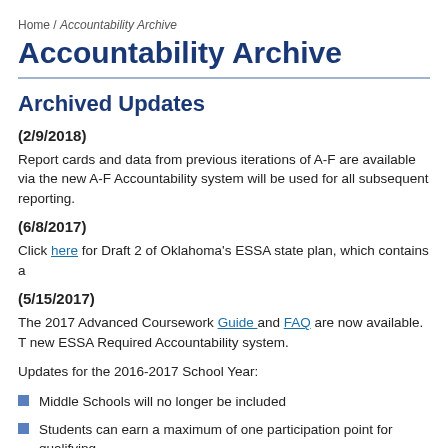Home / Accountability Archive
Accountability Archive
Archived Updates
(2/9/2018)
Report cards and data from previous iterations of A-F are available via the new A-F Accountability system will be used for all subsequent reporting.
(6/8/2017)
Click here for Draft 2 of Oklahoma's ESSA state plan, which contains a
(5/15/2017)
The 2017 Advanced Coursework Guide and FAQ are now available.  T new ESSA Required Accountability system.
Updates for the 2016-2017 School Year:
Middle Schools will no longer be included
Students can earn a maximum of one participation point for qualifying